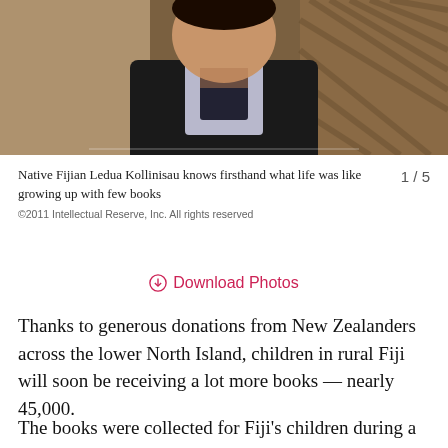[Figure (photo): Photo of a person (Native Fijian Ledua Kollinisau) wearing a dark jacket over a collared shirt, standing in front of a patterned background]
Native Fijian Ledua Kollinisau knows firsthand what life was like growing up with few books
1 / 5
©2011 Intellectual Reserve, Inc. All rights reserved
⊕ Download Photos
Thanks to generous donations from New Zealanders across the lower North Island, children in rural Fiji will soon be receiving a lot more books — nearly 45,000.
The books were collected for Fiji's children during a month-long community